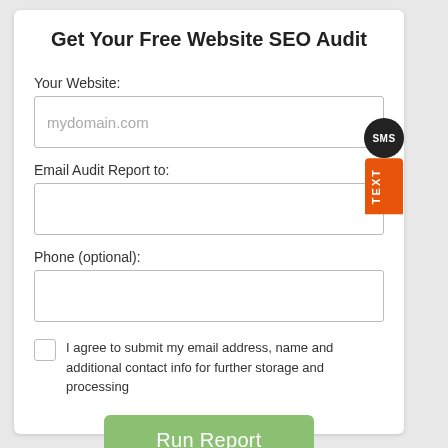Get Your Free Website SEO Audit
Your Website:
mydomain.com
Email Audit Report to:
Phone (optional):
I agree to submit my email address, name and additional contact info for further storage and processing
Run Report
SMS TEXT